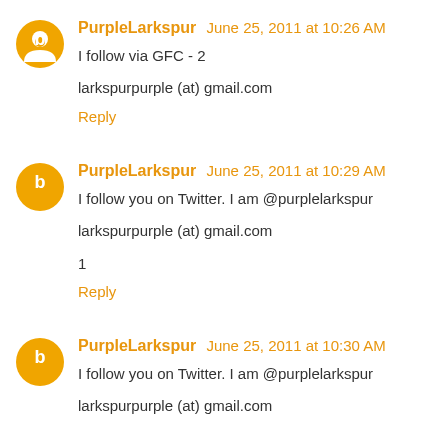[Figure (illustration): Orange circular Blogger avatar icon]
PurpleLarkspur June 25, 2011 at 10:26 AM
I follow via GFC - 2
larkspurpurple (at) gmail.com
Reply
[Figure (illustration): Orange circular Blogger avatar icon]
PurpleLarkspur June 25, 2011 at 10:29 AM
I follow you on Twitter. I am @purplelarkspur
larkspurpurple (at) gmail.com
1
Reply
[Figure (illustration): Orange circular Blogger avatar icon]
PurpleLarkspur June 25, 2011 at 10:30 AM
I follow you on Twitter. I am @purplelarkspur
larkspurpurple (at) gmail.com